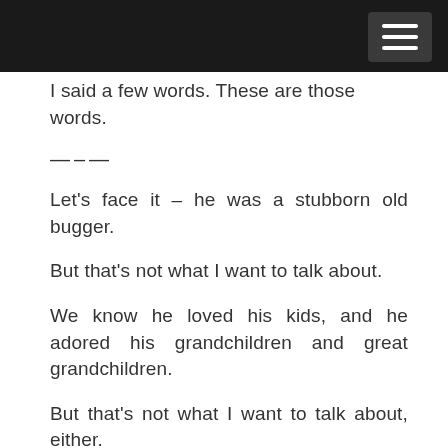I said a few words. These are those words.
---
Let's face it – he was a stubborn old bugger.
But that's not what I want to talk about.
We know he loved his kids, and he adored his grandchildren and great grandchildren.
But that's not what I want to talk about, either.
He wasn't much of a traveller. The journey from the living room window to the kitchen